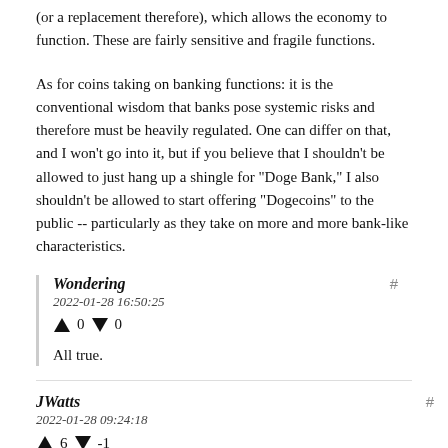(or a replacement therefore), which allows the economy to function. These are fairly sensitive and fragile functions.
As for coins taking on banking functions: it is the conventional wisdom that banks pose systemic risks and therefore must be heavily regulated. One can differ on that, and I won't go into it, but if you believe that I shouldn't be allowed to just hang up a shingle for "Doge Bank," I also shouldn't be allowed to start offering "Dogecoins" to the public -- particularly as they take on more and more bank-like characteristics.
Wondering
2022-01-28 16:50:25
↑ 0 ↓ 0
All true.
JWatts
2022-01-28 09:24:18
↑ 6 ↓ -1